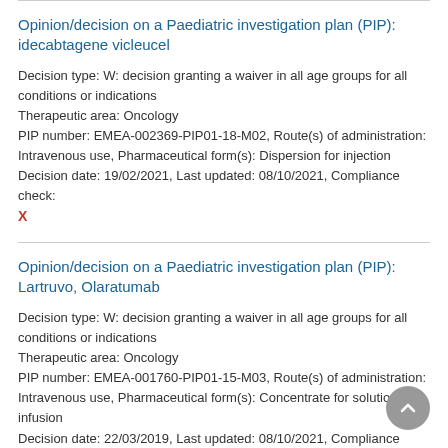Opinion/decision on a Paediatric investigation plan (PIP): idecabtagene vicleucel
Decision type: W: decision granting a waiver in all age groups for all conditions or indications
Therapeutic area: Oncology
PIP number: EMEA-002369-PIP01-18-M02, Route(s) of administration: Intravenous use, Pharmaceutical form(s): Dispersion for injection
Decision date: 19/02/2021, Last updated: 08/10/2021, Compliance check: X
Opinion/decision on a Paediatric investigation plan (PIP): Lartruvo, Olaratumab
Decision type: W: decision granting a waiver in all age groups for all conditions or indications
Therapeutic area: Oncology
PIP number: EMEA-001760-PIP01-15-M03, Route(s) of administration: Intravenous use, Pharmaceutical form(s): Concentrate for solution for infusion
Decision date: 22/03/2019, Last updated: 08/10/2021, Compliance check: X